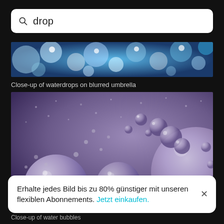drop
[Figure (photo): Close-up of waterdrops on blurred umbrella - blue bokeh water drops]
Close-up of waterdrops on blurred umbrella
[Figure (photo): Close-up macro photo of water/oil bubbles on purple-violet background with various sized spherical drops]
Erhalte jedes Bild bis zu 80% günstiger mit unseren flexiblen Abonnements. Jetzt einkaufen.
Close-up of water bubbles